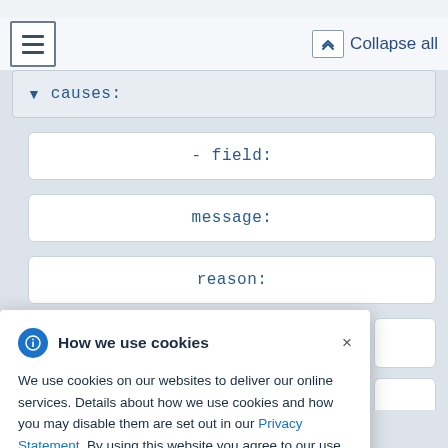[Figure (screenshot): API documentation interface showing collapsible YAML/JSON fields: causes, - field, message, reason, with a Collapse all button and hamburger menu in the toolbar]
causes:
- field:
message:
reason:
How we use cookies
We use cookies on our websites to deliver our online services. Details about how we use cookies and how you may disable them are set out in our Privacy Statement. By using this website you agree to our use of cookies.
uid: